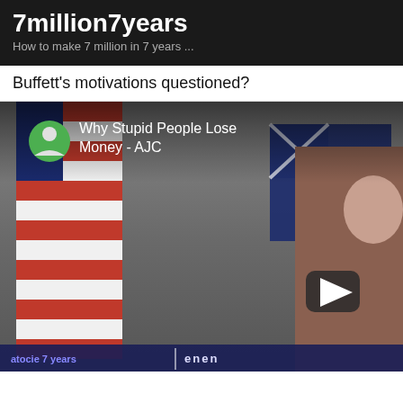7million7years
How to make 7 million in 7 years ...
Buffett's motivations questioned?
[Figure (screenshot): Video thumbnail screenshot showing a YouTube-style video player with title 'Why Stupid People Lose Money - AJC', a green avatar circle, US flag and Australian flag in background, a person on the right side, a play button overlay, and a bottom bar with text 'enen']